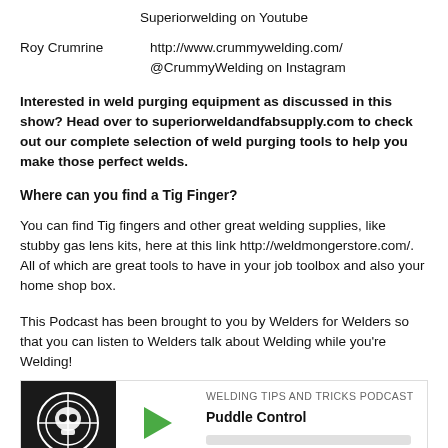Superiorwelding on Youtube
Roy Crumrine    http://www.crummywelding.com/
@CrummyWelding on Instagram
Interested in weld purging equipment as discussed in this show? Head over to superiorweldandfabsupply.com to check out our complete selection of weld purging tools to help you make those perfect welds.
Where can you find a Tig Finger?
You can find Tig fingers and other great welding supplies, like stubby gas lens kits, here at this link http://weldmongerstore.com/.  All of which are great tools to have in your job toolbox and also your home shop box.
This Podcast has been brought to you by Welders for Welders so that you can listen to Welders talk about Welding while you're Welding!
[Figure (other): Podcast player widget showing welding logo, play button, and episode info: WELDING TIPS AND TRICKS PODCAST - Puddle Control]